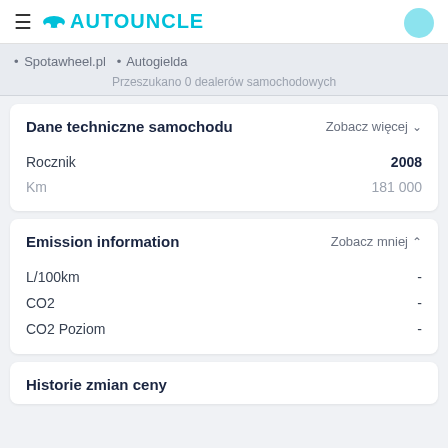≡ AUTOUNCLE
• Spotawheel.pl  • Autogielda
Przeszukano 0 dealerów samochodowych
Dane techniczne samochodu
Zobacz więcej ∨
Rocznik  2008
Km  181 000
Emission information
Zobacz mniej ∧
L/100km  -
CO2  -
CO2 Poziom  -
Historie zmian ceny